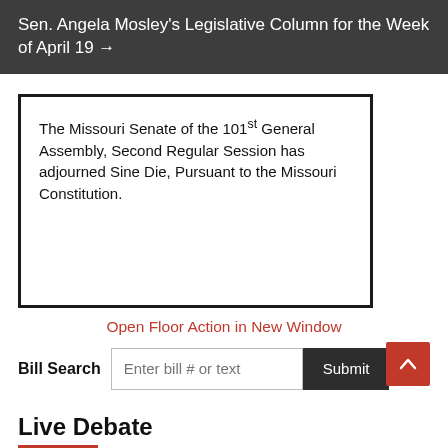Sen. Angela Mosley's Legislative Column for the Week of April 19 →
The Missouri Senate of the 101st General Assembly, Second Regular Session has adjourned Sine Die, Pursuant to the Missouri Constitution.
Open Floor Action in New Window
Bill Search  Enter bill # or text  Submit
Live Debate